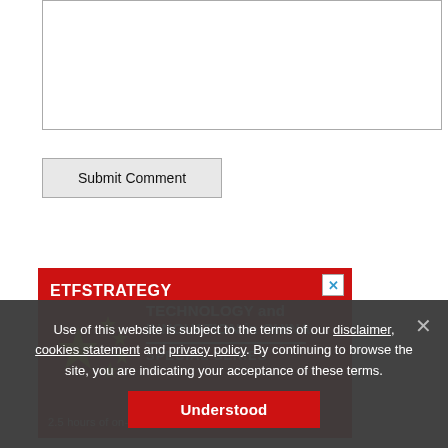[Figure (screenshot): Text area input box for comment submission]
Submit Comment
[Figure (illustration): ETF Strategy advertisement banner - Technology and Innovation in China Special Series. Red background with Chinese flag stars. 2.5 hours of on-demand webcast content with...]
Use of this website is subject to the terms of our disclaimer, cookies statement and privacy policy. By continuing to browse the site, you are indicating your acceptance of these terms.
Understood